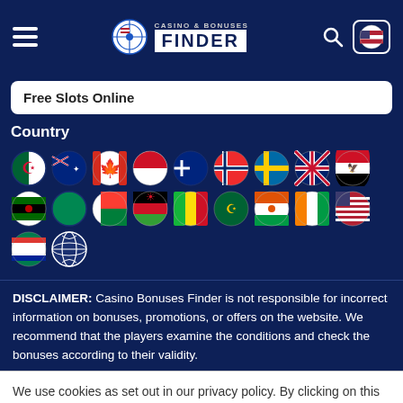Casino & Bonuses Finder — navigation header
Free Slots Online
Country
[Figure (infographic): Grid of circular country flag icons: Algeria, New Zealand, Canada, Indonesia, New Zealand (alt), Norway, Sweden, United Kingdom, Egypt, Kenya, Nigeria (green), Madagascar, Malawi, Mali, Mauritania, Niger, Côte d'Ivoire, United States, South Africa, and a globe icon.]
DISCLAIMER: Casino Bonuses Finder is not responsible for incorrect information on bonuses, promotions, or offers on the website. We recommend that the players examine the conditions and check the bonuses according to their validity.
We use cookies as set out in our privacy policy. By clicking on this pop up, you agree to our policies.
Read the privacy policy
It's OK For Me